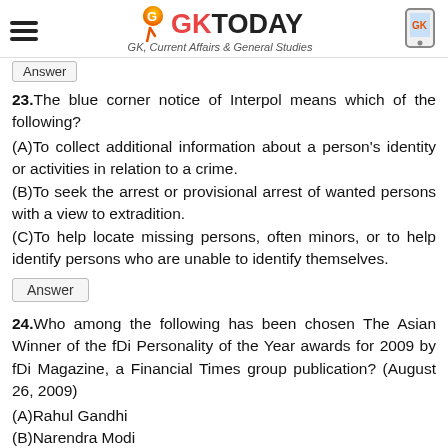GK TODAY - GK, Current Affairs & General Studies
23.The blue corner notice of Interpol means which of the following?
(A)To collect additional information about a person's identity or activities in relation to a crime.
(B)To seek the arrest or provisional arrest of wanted persons with a view to extradition.
(C)To help locate missing persons, often minors, or to help identify persons who are unable to identify themselves.
Answer
24.Who among the following has been chosen The Asian Winner of the fDi Personality of the Year awards for 2009 by fDi Magazine, a Financial Times group publication? (August 26, 2009)
(A)Rahul Gandhi
(B)Narendra Modi